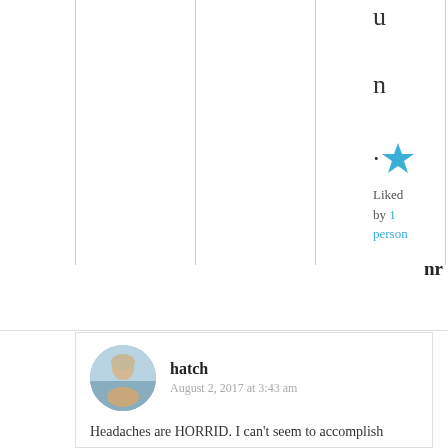u

n

.
[Figure (other): Blue star icon for like/rating]
Liked by 1 person
nr
[Figure (photo): Avatar photo of commenter hatch - woman with light hair outdoors]
hatch
August 2, 2017 at 3:43 am
Headaches are HORRID. I can't seem to accomplish anything when my head is pounding. Dealing with what you're dealing with is NOT for the faint-hearted. You are a real trooper, Anne
Best of luck in ridding your head of unwanted